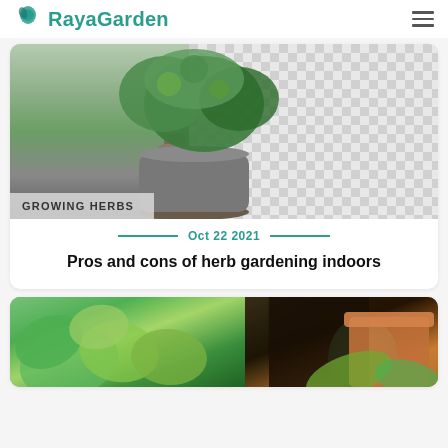RayaGarden
[Figure (photo): Bonsai tree in a gray woven pot against a checkered (transparent) background, with 'GROWING HERBS' category badge at bottom left]
GROWING HERBS
Oct 22 2021
Pros and cons of herb gardening indoors
[Figure (photo): Close-up photo of fresh basil leaves and other herbs growing in dark soil with a terracotta pot visible]